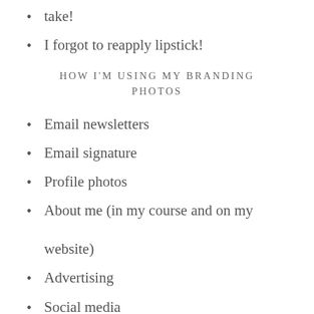take!
I forgot to reapply lipstick!
HOW I'M USING MY BRANDING PHOTOS
Email newsletters
Email signature
Profile photos
About me (in my course and on my website)
Advertising
Social media